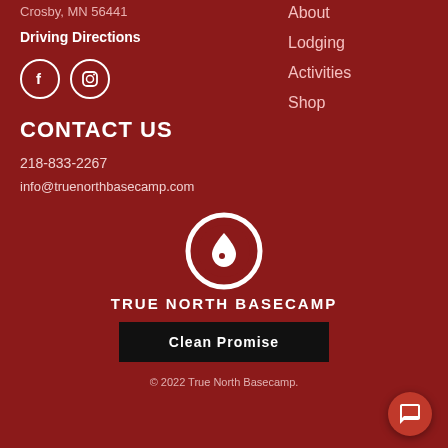Crosby, MN  56441
Driving Directions
[Figure (logo): Facebook and Instagram social media icons (white circles with f and camera icons)]
About
Lodging
Activities
Shop
CONTACT US
218-833-2267
info@truenorthbasecamp.com
[Figure (logo): True North Basecamp logo: white ring with water drop icon inside]
TRUE NORTH BASECAMP
Clean Promise
© 2022 True North Basecamp.